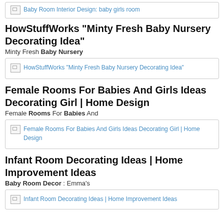[Figure (screenshot): Broken image placeholder: Baby Room Interior Design: baby girls room]
HowStuffWorks "Minty Fresh Baby Nursery Decorating Idea"
Minty Fresh Baby Nursery
[Figure (screenshot): Broken image placeholder: HowStuffWorks "Minty Fresh Baby Nursery Decorating Idea"]
Female Rooms For Babies And Girls Ideas Decorating Girl | Home Design
Female Rooms For Babies And
[Figure (screenshot): Broken image placeholder: Female Rooms For Babies And Girls Ideas Decorating Girl | Home Design]
Infant Room Decorating Ideas | Home Improvement Ideas
Baby Room Decor : Emma's
[Figure (screenshot): Broken image placeholder: Infant Room Decorating Ideas | Home Improvement Ideas]